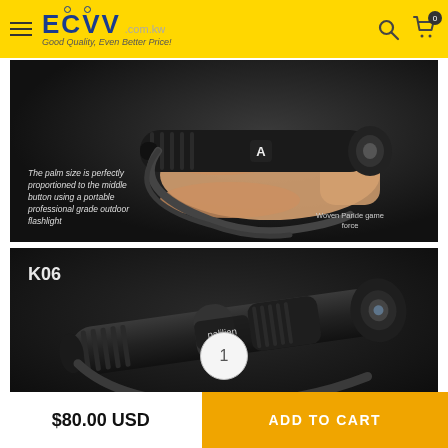ECVV .com.kw — Good Quality, Even Better Price!
[Figure (photo): Hand holding a small black tactical flashlight labeled 'A'. Text overlay: 'The palm size is perfectly proportioned to the middle button using a portable professional grade outdoor flashlight'. Bottom right text: 'Woven Paride game force']
[Figure (photo): Black tactical flashlight labeled 'K06' and 'palilien' lying on a dark surface with a wrist strap visible]
1
$80.00 USD
ADD TO CART